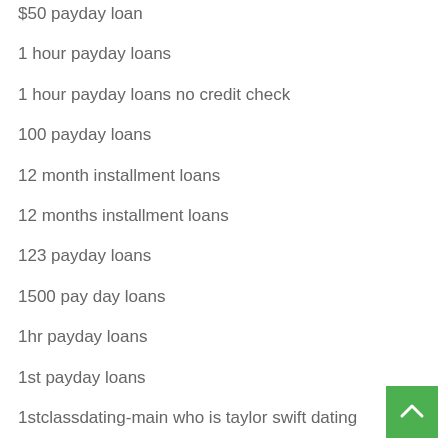$50 payday loan
1 hour payday loans
1 hour payday loans no credit check
100 payday loans
12 month installment loans
12 months installment loans
123 payday loans
1500 pay day loans
1hr payday loans
1st payday loans
1stclassdating-main who is taylor swift dating
2
2 Deposit best canadian casinos online